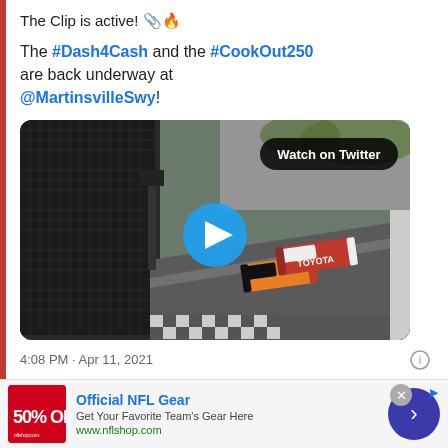The Clip is active! 📎🔥
The #Dash4Cash and the #CookOut250 are back underway at @MartinsvilleSwy!
[Figure (screenshot): NASCAR race video thumbnail at Martinsville Speedway with a blue play button in the center and a 'Watch on Twitter' badge in the top right corner.]
4:08 PM · Apr 11, 2021
Official NFL Gear — Get Your Favorite Team's Gear Here — www.nflshop.com (ad)